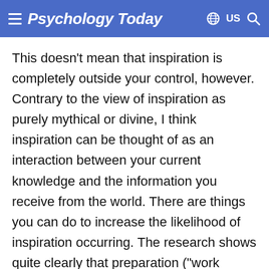Psychology Today — US
This doesn't mean that inspiration is completely outside your control, however. Contrary to the view of inspiration as purely mythical or divine, I think inspiration can be thought of as an interaction between your current knowledge and the information you receive from the world. There are things you can do to increase the likelihood of inspiration occurring. The research shows quite clearly that preparation ("work mastery") is a key ingredient, as is Openness to Experience and positive affect. Exposure to inspiring role models also counts a lot, as do small accomplishments, which can boost inspiration, setting off a beautiful